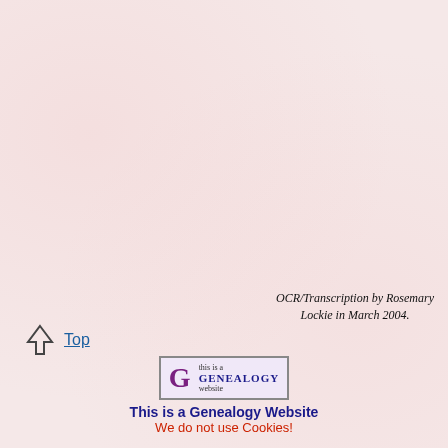|  |  |
| --- | --- |
| Jones Wm. & J., farmers, Coed Moor com. | Black Swan Inn, and tailor Walters Mrs., farmer, Rhydd farm Williams James, farmer, Saddlebow farm Williams James, farmer, New house |
| Lee Robert, farmer, Little Lowe Leonard John Henry, farmer, Cracohill Mansell James, farmer, Hill farm |  |
OCR/Transcription by Rosemary Lockie in March 2004.
Top
[Figure (logo): Genealogy website badge with large G letter and text 'this is a GENEALOGY website']
This is a Genealogy Website
We do not use Cookies!